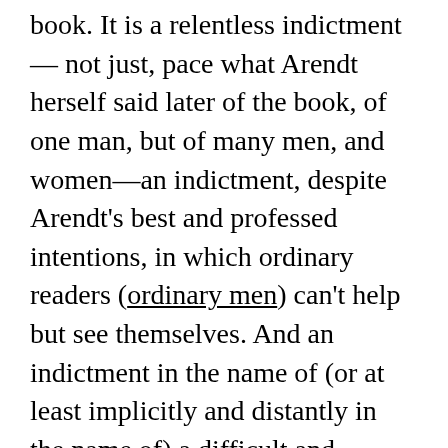book. It is a relentless indictment — not just, pace what Arendt herself said later of the book, of one man, but of many men, and women—an indictment, despite Arendt's best and professed intentions, in which ordinary readers (ordinary men) can't help but see themselves. And an indictment in the name of (or at least implicitly and distantly in the name of) a difficult and demanding ethics and politics. An indictment that seems to stir the same kind of reaction to Arendt that historically was stirred up against the Jews. Oh, that Hannah Arendt: she sets herself apart; she thinks she's smarter than the rest of us; she belongs to no one, not even the Jews. Only this time it's not the reaction of just non-Jews to Jews, but also of Jews to a Jew. Shana Tova.